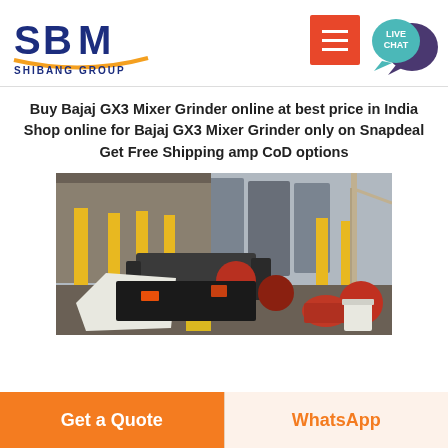[Figure (logo): SBM Shibang Group logo with blue text and orange swoosh]
[Figure (other): Orange hamburger menu button and teal live chat speech bubble icon]
Buy Bajaj GX3 Mixer Grinder online at best price in India Shop online for Bajaj GX3 Mixer Grinder only on Snapdeal Get Free Shipping amp CoD options
[Figure (photo): Industrial factory floor with heavy machinery, yellow columns, silos, and a crane in the background]
Get a Quote
WhatsApp